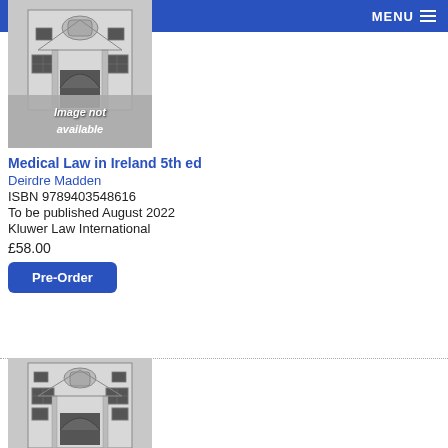MENU
[Figure (illustration): Book cover placeholder showing building facade illustration with 'Image not available' overlay]
Medical Law in Ireland 5th ed
Deirdre Madden
ISBN 9789403548616
To be published August 2022
Kluwer Law International
£58.00
Pre-Order
[Figure (illustration): Book cover placeholder showing building facade illustration (second listing)]